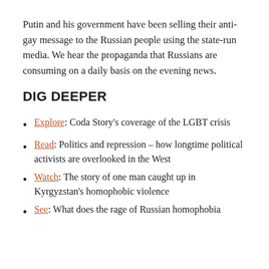Putin and his government have been selling their anti-gay message to the Russian people using the state-run media. We hear the propaganda that Russians are consuming on a daily basis on the evening news.
DIG DEEPER
Explore: Coda Story's coverage of the LGBT crisis
Read: Politics and repression – how longtime political activists are overlooked in the West
Watch: The story of one man caught up in Kyrgyzstan's homophobic violence
See: What does the rage of Russian homophobia